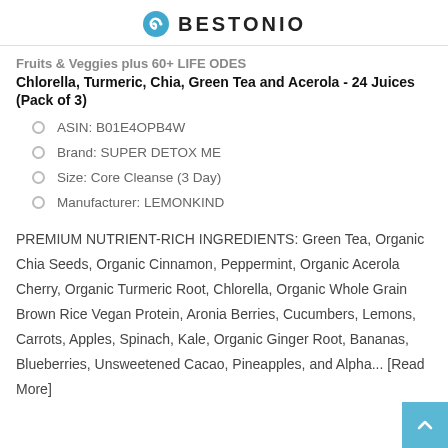BESTONIO
Fruits & Veggies plus 60+ LIFE ODES Chlorella, Turmeric, Chia, Green Tea and Acerola - 24 Juices (Pack of 3)
ASIN: B01E4OPB4W
Brand: SUPER DETOX ME
Size: Core Cleanse (3 Day)
Manufacturer: LEMONKIND
PREMIUM NUTRIENT-RICH INGREDIENTS: Green Tea, Organic Chia Seeds, Organic Cinnamon, Peppermint, Organic Acerola Cherry, Organic Turmeric Root, Chlorella, Organic Whole Grain Brown Rice Vegan Protein, Aronia Berries, Cucumbers, Lemons, Carrots, Apples, Spinach, Kale, Organic Ginger Root, Bananas, Blueberries, Unsweetened Cacao, Pineapples, and Alpha... [Read More]